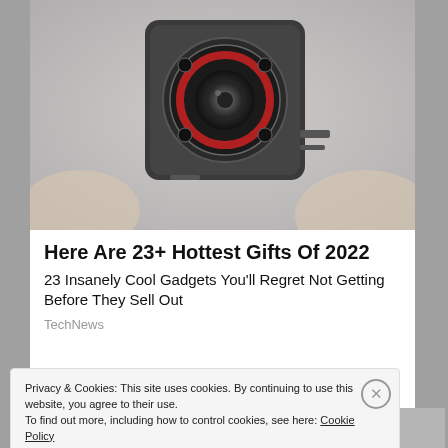[Figure (photo): A small metallic mini spy camera held between fingers, showing the lens and IR lights on the front face.]
Here Are 23+ Hottest Gifts Of 2022
23 Insanely Cool Gadgets You'll Regret Not Getting Before They Sell Out
TechNews
[Figure (photo): Partial second article image, cropped at bottom of page.]
Privacy & Cookies: This site uses cookies. By continuing to use this website, you agree to their use.
To find out more, including how to control cookies, see here: Cookie Policy
Close and accept